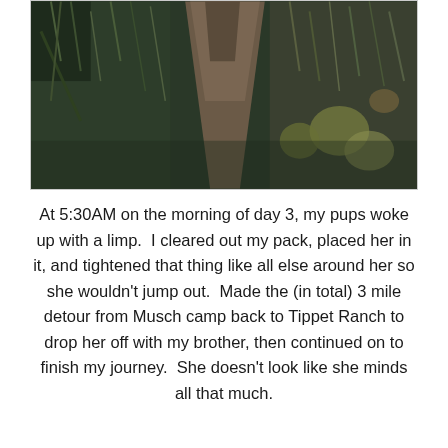[Figure (photo): A dirt hiking trail winding through dense green and golden grass and vegetation, photographed from above looking down the path. Dark, moody tones.]
At 5:30AM on the morning of day 3, my pups woke up with a limp.  I cleared out my pack, placed her in it, and tightened that thing like all else around her so she wouldn't jump out.  Made the (in total) 3 mile detour from Musch camp back to Tippet Ranch to drop her off with my brother, then continued on to finish my journey.  She doesn't look like she minds all that much.